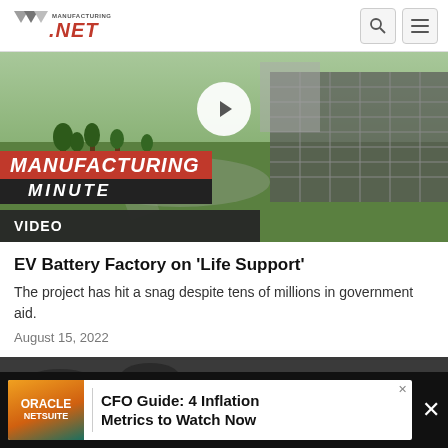[Figure (logo): Manufacturing.net logo — stylized M in grey/silver with red and grey NET text]
[Figure (screenshot): Video thumbnail showing aerial view of a facility with trees and solar panels, Manufacturing Minute badge overlay, play button, VIDEO label]
EV Battery Factory on ‘Life Support’
The project has hit a snag despite tens of millions in government aid.
August 15, 2022
[Figure (photo): Partial dark photo strip of next article image]
[Figure (screenshot): Oracle NetSuite advertisement banner: CFO Guide: 4 Inflation Metrics to Watch Now]